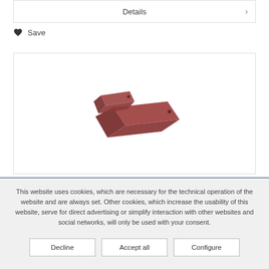Details ›
♥ Save
[Figure (photo): Two dark red/maroon rubber or foam wedge-shaped blocks, one smaller and one larger, shown at an angle on a white background.]
This website uses cookies, which are necessary for the technical operation of the website and are always set. Other cookies, which increase the usability of this website, serve for direct advertising or simplify interaction with other websites and social networks, will only be used with your consent.
Decline
Accept all
Configure